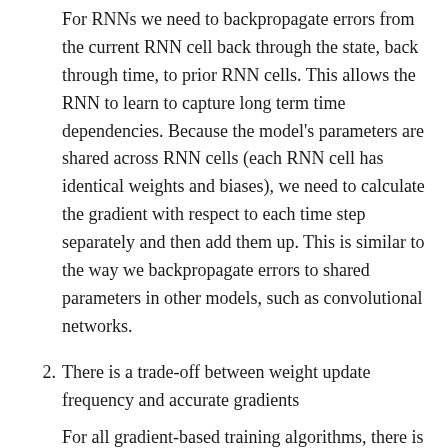For RNNs we need to backpropagate errors from the current RNN cell back through the state, back through time, to prior RNN cells. This allows the RNN to learn to capture long term time dependencies. Because the model's parameters are shared across RNN cells (each RNN cell has identical weights and biases), we need to calculate the gradient with respect to each time step separately and then add them up. This is similar to the way we backpropagate errors to shared parameters in other models, such as convolutional networks.
2. There is a trade-off between weight update frequency and accurate gradients
For all gradient-based training algorithms, there is an unavoidable trade-off between (1) frequency of parameter